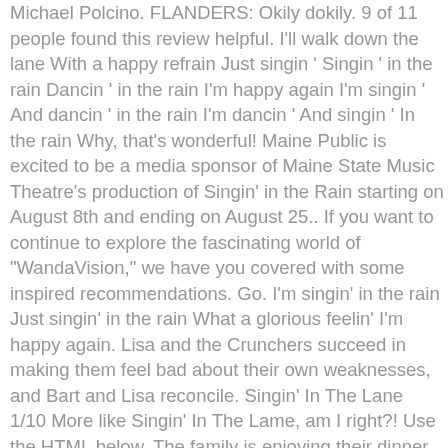Michael Polcino. FLANDERS: Okily dokily. 9 of 11 people found this review helpful. I'll walk down the lane With a happy refrain Just singin ' Singin ' in the rain Dancin ' in the rain I'm happy again I'm singin ' And dancin ' in the rain I'm dancin ' And singin ' In the rain Why, that's wonderful! Maine Public is excited to be a media sponsor of Maine State Music Theatre's production of Singin' in the Rain starting on August 8th and ending on August 25.. If you want to continue to explore the fascinating world of "WandaVision," we have you covered with some inspired recommendations. Go. I'm singin' in the rain Just singin' in the rain What a glorious feelin' I'm happy again. Lisa and the Crunchers succeed in making them feel bad about their own weaknesses, and Bart and Lisa reconcile. Singin' In The Lane 1/10 More like Singin' In The Lame, am I right?! Use the HTML below. The family is enjoying their dinner when Mr. Burns calls Homer to invite him to a basketball game, after running through an insanely long list of people (both Springfield residents and celebrities) who declined to spend